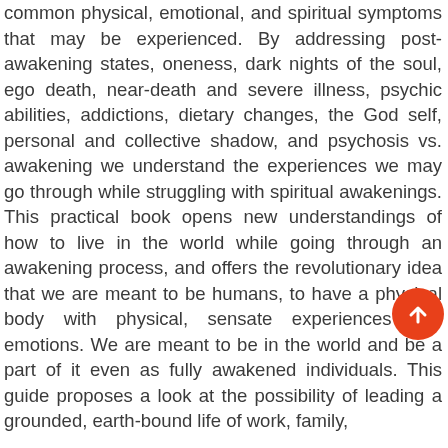common physical, emotional, and spiritual symptoms that may be experienced. By addressing post-awakening states, oneness, dark nights of the soul, ego death, near-death and severe illness, psychic abilities, addictions, dietary changes, the God self, personal and collective shadow, and psychosis vs. awakening we understand the experiences we may go through while struggling with spiritual awakenings. This practical book opens new understandings of how to live in the world while going through an awakening process, and offers the revolutionary idea that we are meant to be humans, to have a physical body with physical, sensate experiences and emotions. We are meant to be in the world and be a part of it even as fully awakened individuals. This guide proposes a look at the possibility of leading a grounded, earth-bound life of work, family,
[Figure (other): Orange circular scroll-to-top button with upward arrow icon]